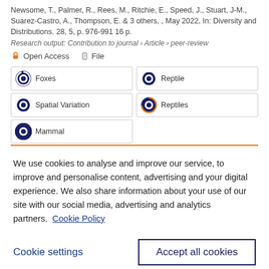Newsome, T., Palmer, R., Rees, M., Ritchie, E., Speed, J., Stuart, J-M., Suarez-Castro, A., Thompson, E. & 3 others, , May 2022, In: Diversity and Distributions. 28, 5, p. 976-991 16 p.
Research output: Contribution to journal › Article › peer-review
Open Access   File
Foxes | Reptile | Spatial Variation | Reptiles | Mammal
We use cookies to analyse and improve our service, to improve and personalise content, advertising and your digital experience. We also share information about your use of our site with our social media, advertising and analytics partners.  Cookie Policy
Cookie settings
Accept all cookies